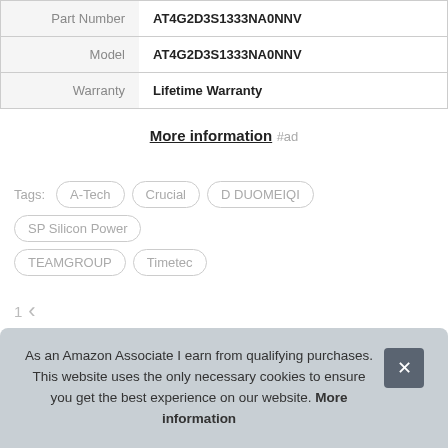| Part Number | AT4G2D3S1333NA0NNV |
| Model | AT4G2D3S1333NA0NNV |
| Warranty | Lifetime Warranty |
More information #ad
Tags: A-Tech  Crucial  D DUOMEIQI  SP Silicon Power  TEAMGROUP  Timetec
As an Amazon Associate I earn from qualifying purchases. This website uses the only necessary cookies to ensure you get the best experience on our website. More information